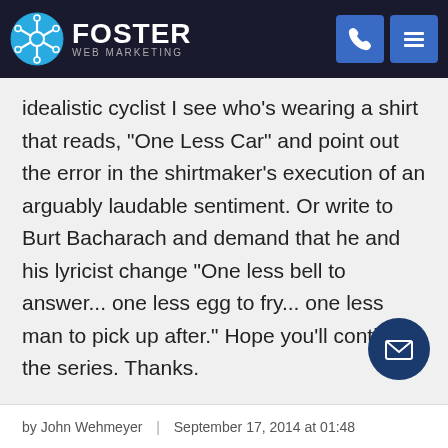FOSTER WEB MARKETING
idealistic cyclist I see who's wearing a shirt that reads, "One Less Car" and point out the error in the shirtmaker's execution of an arguably laudable sentiment. Or write to Burt Bacharach and demand that he and his lyricist change "One less bell to answer... one less egg to fry... one less man to pick up after." Hope you'll continue the series. Thanks.
by John Wehmeyer | September 17, 2014 at 01:48